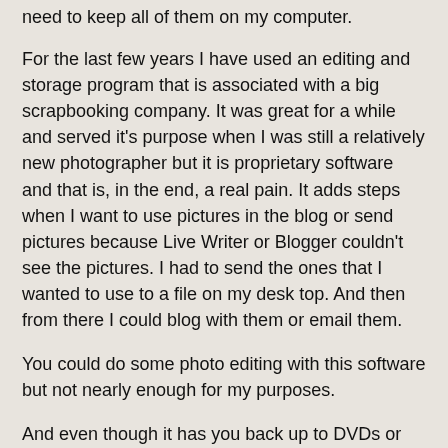need to keep all of them on my computer.
For the last few years I have used an editing and storage program that is associated with a big scrapbooking company. It was great for a while and served it's purpose when I was still a relatively new photographer but it is proprietary software and that is, in the end, a real pain. It adds steps when I want to use pictures in the blog or send pictures because Live Writer or Blogger couldn't see the pictures. I had to send the ones that I wanted to use to a file on my desk top. And then from there I could blog with them or email them.
You could do some photo editing with this software but not nearly enough for my purposes.
And even though it has you back up to DVDs or CDs I have been worried that that wasn't the right way to do this, that I needed to have the pictures backed up to an external hard drive.
So, I am moving them slowly over to the external drive.